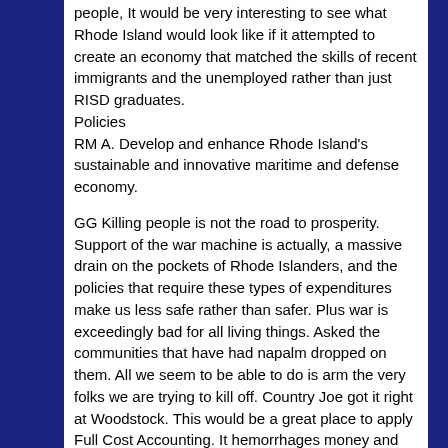people, It would be very interesting to see what Rhode Island would look like if it attempted to create an economy that matched the skills of recent immigrants and the unemployed rather than just RISD graduates.
Policies
RM A. Develop and enhance Rhode Island's sustainable and innovative maritime and defense economy.
GG Killing people is not the road to prosperity. Support of the war machine is actually, a massive drain on the pockets of Rhode Islanders, and the policies that require these types of expenditures make us less safe rather than safer. Plus war is exceedingly bad for all living things. Asked the communities that have had napalm dropped on them. All we seem to be able to do is arm the very folks we are trying to kill off. Country Joe got it right at Woodstock. This would be a great place to apply Full Cost Accounting. It hemorrhages money and makes our lives worse destroying democracy and civil liberties at home as well as around the world. Spend all of the money now used for killing on alternative energy. OOPS, I forgot we